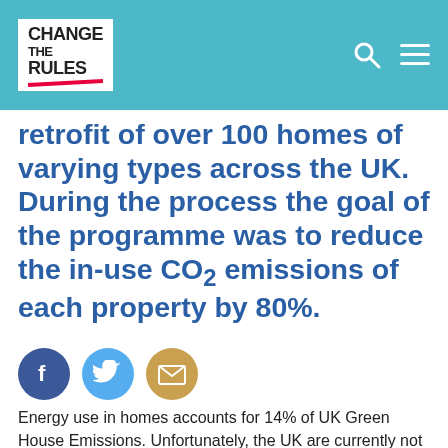CHANGE THE RULES
retrofit of over 100 homes of varying types across the UK. During the process the goal of the programme was to reduce the in-use CO2 emissions of each property by 80%.
[Figure (infographic): Social sharing icons: Facebook (blue circle), Twitter (light blue circle), Email/envelope (tan/gold circle)]
Energy use in homes accounts for 14% of UK Green House Emissions. Unfortunately, the UK are currently not meeting their goal set for 2030 – to reduce these emissions by 24%.